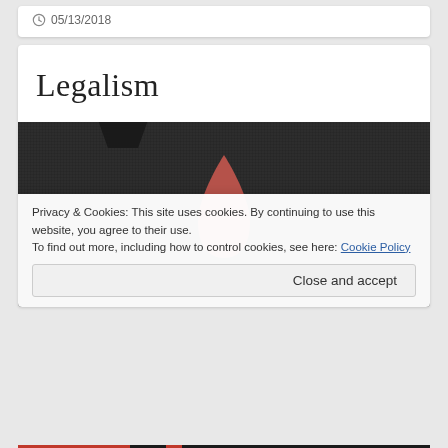05/13/2018
Legalism
[Figure (illustration): Dark grey textured background with a reddish-brown teardrop/water drop shape in the center, and a small dark notch at the top]
Privacy & Cookies: This site uses cookies. By continuing to use this website, you agree to their use.
To find out more, including how to control cookies, see here: Cookie Policy
Close and accept